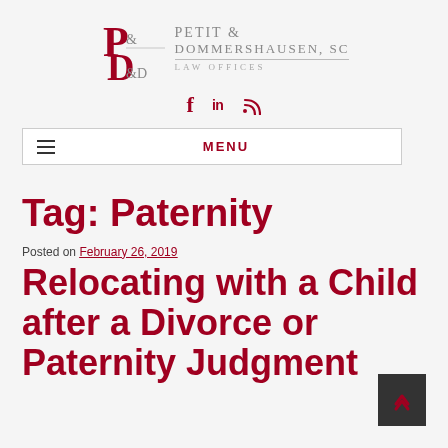Petit & Dommershausen, SC — Law Offices
[Figure (logo): Petit & Dommershausen, SC Law Offices logo with stylized P&D lettermark in dark red and gray firm name text]
[Figure (infographic): Social media icons: Facebook (f), LinkedIn (in), RSS feed]
MENU
Tag: Paternity
Posted on February 26, 2019
Relocating with a Child after a Divorce or Paternity Judgment